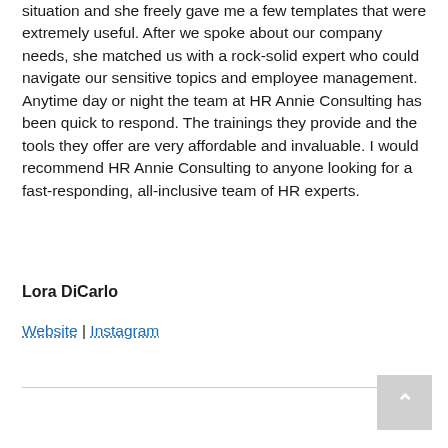situation and she freely gave me a few templates that were extremely useful. After we spoke about our company needs, she matched us with a rock-solid expert who could navigate our sensitive topics and employee management. Anytime day or night the team at HR Annie Consulting has been quick to respond. The trainings they provide and the tools they offer are very affordable and invaluable. I would recommend HR Annie Consulting to anyone looking for a fast-responding, all-inclusive team of HR experts.
Lora DiCarlo
Website | Instagram